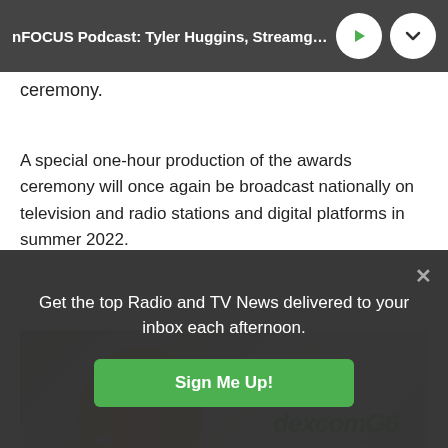nFOCUS Podcast: Tyler Huggins, Streamguys
ceremony.
A special one-hour production of the awards ceremony will once again be broadcast nationally on television and radio stations and digital platforms in summer 2022.
[Figure (screenshot): Video thumbnail showing a woman with blonde hair in front of a dexcomG6 advertisement overlay. Text reads 'Covered by Medicare.']
Get the top Radio and TV News delivered to your inbox each afternoon.